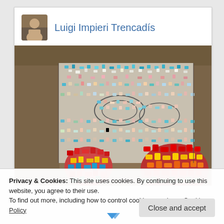Luigi Impieri Trencadís
[Figure (photo): Colorful mosaic artwork (trencadís) photographed from above, showing vibrant flower patterns made from broken ceramic tiles in red, yellow, blue, green, and other colors.]
Privacy & Cookies: This site uses cookies. By continuing to use this website, you agree to their use.
To find out more, including how to control cookies, see here: Cookie Policy
Close and accept